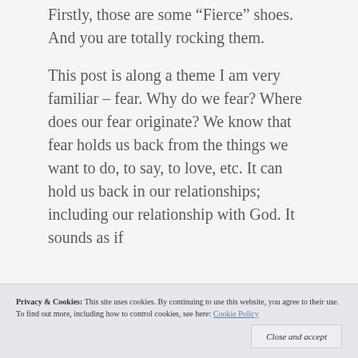Firstly, those are some “Fierce” shoes. And you are totally rocking them.
This post is along a theme I am very familiar – fear. Why do we fear? Where does our fear originate? We know that fear holds us back from the things we want to do, to say, to love, etc. It can hold us back in our relationships; including our relationship with God. It sounds as if
Privacy & Cookies: This site uses cookies. By continuing to use this website, you agree to their use.
To find out more, including how to control cookies, see here: Cookie Policy
Close and accept